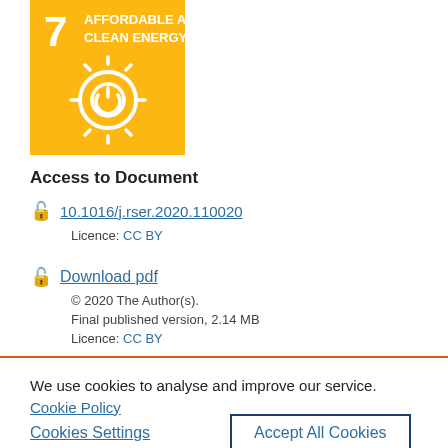[Figure (logo): UN SDG 7 icon - Affordable and Clean Energy, yellow/orange square with sun symbol and number 7]
Access to Document
10.1016/j.rser.2020.110020
Licence: CC BY
Download pdf
© 2020 The Author(s).
Final published version, 2.14 MB
Licence: CC BY
We use cookies to analyse and improve our service. Cookie Policy
Cookies Settings
Accept All Cookies